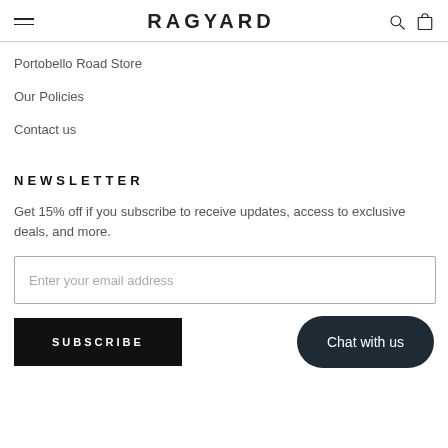RAGYARD
Portobello Road Store
Our Policies
Contact us
NEWSLETTER
Get 15% off if you subscribe to receive updates, access to exclusive deals, and more.
Enter your email address
SUBSCRIBE
Chat with us